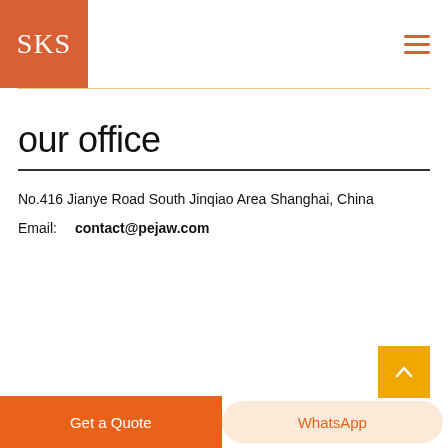SKS
our office
No.416 Jianye Road South Jinqiao Area Shanghai, China
Email: contact@pejaw.com
Get a Quote | WhatsApp